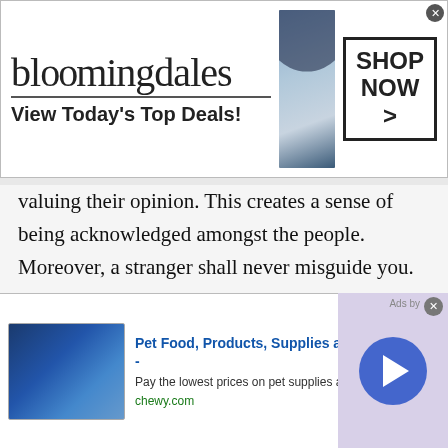[Figure (screenshot): Bloomingdales advertisement banner: logo text 'bloomingdales', tagline 'View Today's Top Deals!', model with hat, and 'SHOP NOW >' button box]
valuing their opinion. This creates a sense of being acknowledged amongst the people. Moreover, a stranger shall never misguide you. Since they are a stranger to you and you both are trying to grow your social circle. By this simple mere act, you can easily make them feel that they are important to you. alongside, they will use their full capabilities and expertise to give you the best advice.
Furthermore, if you are willing to grow your soc...
[Figure (screenshot): Chewy.com advertisement: 'Pet Food, Products, Supplies at Low Prices -', 'Pay the lowest prices on pet supplies at Chewy.com', 'chewy.com', with product image and play button]